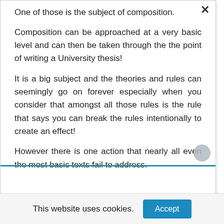One of those is the subject of composition.
Composition can be approached at a very basic level and can then be taken through the the point of writing a University thesis!
It is a big subject and the theories and rules can seemingly go on forever especially when you consider that amongst all those rules is the rule that says you can break the rules intentionally to create an effect!
However there is one action that nearly all even the most basic texts fail to address.
This website uses cookies.